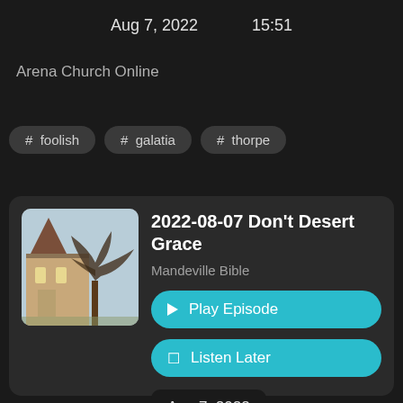Aug 7, 2022   15:51
Arena Church Online
# foolish
# galatia
# thorpe
[Figure (photo): Thumbnail photo of a church building with a tree against a light blue sky]
2022-08-07 Don't Desert Grace
Mandeville Bible
▶ Play Episode
🔖 Listen Later
Aug 7, 2022